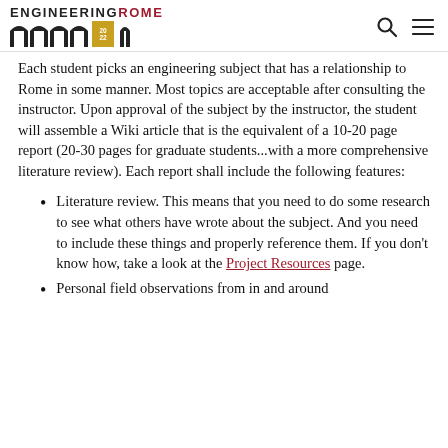Engineering ROME
Each student picks an engineering subject that has a relationship to Rome in some manner. Most topics are acceptable after consulting the instructor. Upon approval of the subject by the instructor, the student will assemble a Wiki article that is the equivalent of a 10-20 page report (20-30 pages for graduate students...with a more comprehensive literature review). Each report shall include the following features:
Literature review. This means that you need to do some research to see what others have wrote about the subject. And you need to include these things and properly reference them. If you don't know how, take a look at the Project Resources page.
Personal field observations from in and around